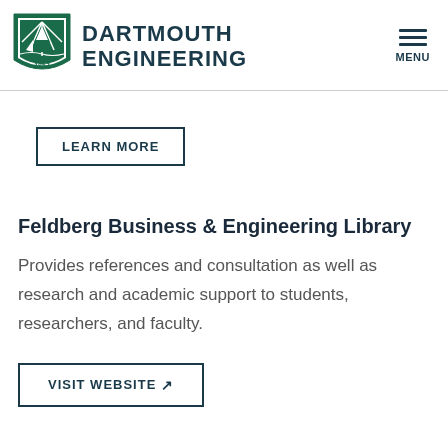DARTMOUTH ENGINEERING
LEARN MORE
Feldberg Business & Engineering Library
Provides references and consultation as well as research and academic support to students, researchers, and faculty.
VISIT WEBSITE